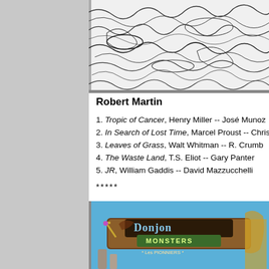[Figure (illustration): Black and white ink drawing showing abstract wavy lines and textures, cropped at top of page]
Robert Martin
1. Tropic of Cancer, Henry Miller -- José Munoz
2. In Search of Lost Time, Marcel Proust -- Chris War
3. Leaves of Grass, Walt Whitman -- R. Crumb
4. The Waste Land, T.S. Eliot -- Gary Panter
5. JR, William Gaddis -- David Mazzucchelli
*****
[Figure (illustration): Color comic book cover for 'Donjon Monsters - Les Pionniers' showing fantasy characters with sword and creatures against a blue sky background]